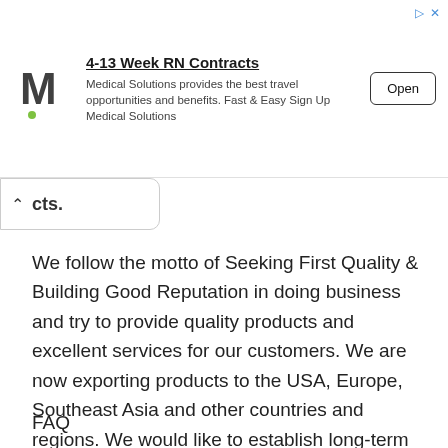[Figure (other): Advertisement banner for Medical Solutions showing logo, headline '4-13 Week RN Contracts', body text, and an Open button]
cts.
We follow the motto of Seeking First Quality & Building Good Reputation in doing business and try to provide quality products and excellent services for our customers. We are now exporting products to the USA, Europe, Southeast Asia and other countries and regions. We would like to establish long-term business relationships with you. Please feel free to contact us for further information.
FAQ